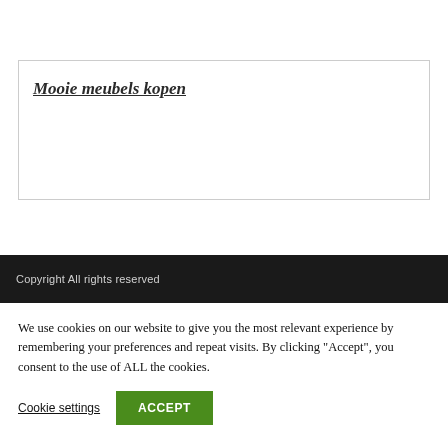Mooie meubels kopen
Copyright All rights reserved
We use cookies on our website to give you the most relevant experience by remembering your preferences and repeat visits. By clicking "Accept", you consent to the use of ALL the cookies.
Cookie settings  ACCEPT